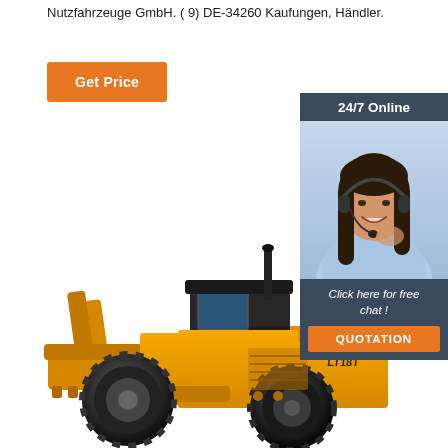Nutzfahrzeuge GmbH. ( 9) DE-34260 Kaufungen, Händler.
[Figure (illustration): Orange 'Get Price' button]
[Figure (infographic): Dark blue sidebar with '24/7 Online' heading, a photo of a woman wearing a headset smiling, text 'Click here for free chat!', and an orange QUOTATION button below.]
[Figure (photo): Yellow/orange front-end wheel loader construction machine labeled LT18T on white background.]